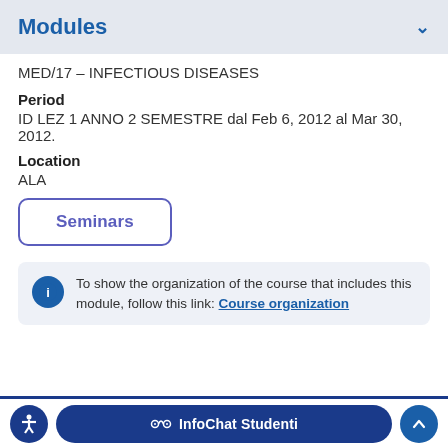Modules
MED/17 – INFECTIOUS DISEASES
Period
ID LEZ 1 ANNO 2 SEMESTRE dal Feb 6, 2012 al Mar 30, 2012.
Location
ALA
Seminars
To show the organization of the course that includes this module, follow this link: Course organization
InfoChat Studenti